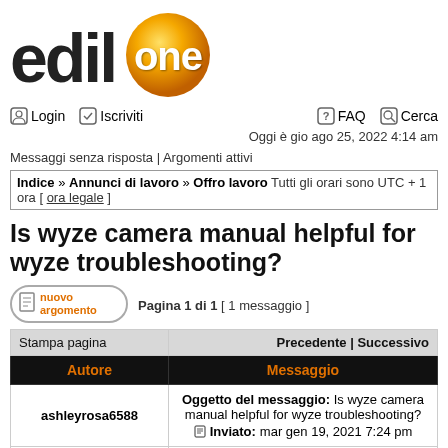[Figure (logo): edilone logo with orange ball and white 'one' text on black 'edil' wordmark]
Login  Iscriviti    FAQ  Cerca
Oggi è gio ago 25, 2022 4:14 am
Messaggi senza risposta | Argomenti attivi
Indice » Annunci di lavoro » Offro lavoro Tutti gli orari sono UTC + 1 ora [ ora legale ]
Is wyze camera manual helpful for wyze troubleshooting?
Pagina 1 di 1  [ 1 messaggio ]
| Stampa pagina | Precedente | Successivo |
| --- | --- |
| Autore | Messaggio |
| ashleyrosa6588 | Oggetto del messaggio: Is wyze camera manual helpful for wyze troubleshooting?
Inviato: mar gen 19, 2021 7:24 pm |
| offline | Before helping you with the answer to |